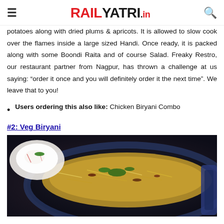RAILYATRI.in
potatoes along with dried plums & apricots. It is allowed to slow cook over the flames inside a large sized Handi. Once ready, it is packed along with some Boondi Raita and of course Salad. Freaky Restro, our restaurant partner from Nagpur, has thrown a challenge at us saying: “order it once and you will definitely order it the next time”. We leave that to you!
Users ordering this also like: Chicken Biryani Combo
#2: Veg Biryani
[Figure (photo): A dark bowl/pan filled with Veg Biryani rice dish with herbs and colorful spices, with a white raita bowl visible in the background, photographed from above on a dark background.]